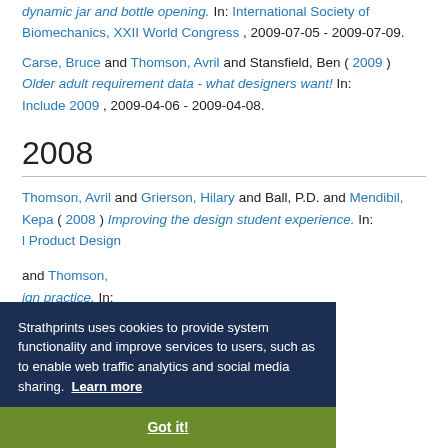dynamic jar and bottle opening. In: International Society of Biomechanics, XXII World Congress, 2009-07-05 - 2009-07-09.
Carse, Bruce and Thomson, Avril and Stansfield, Ben (2009) Older adult requirement data - what designers want! In: Include 2009, 2009-04-06 - 2009-04-08.
2008
Thomson, Avril and Grierson, Hilary and Ball, P.D. and Mendibil, Kepa (2008) Improving the design student experience. In: [Industrial Product Design ...]
... and Thomson, ... ign practice. In: ...iciples and Practices, 2008-01-09 - 2008-01-11.
Strathprints uses cookies to provide system functionality and improve services to users, such as to enable web traffic analytics and social media sharing. Learn more
Got it!